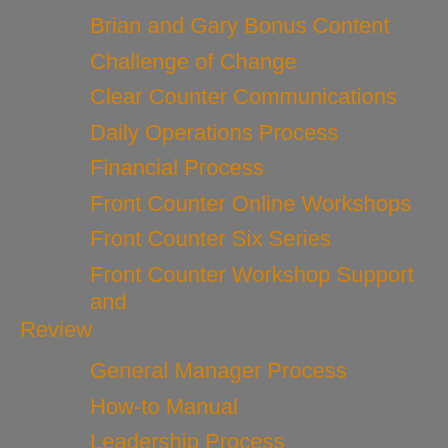Brian and Gary Bonus Content
Challenge of Change
Clear Counter Communications
Daily Operations Process
Financial Process
Front Counter Online Workshops
Front Counter Six Series
Front Counter Workshop Support and Review
General Manager Process
How-to Manual
Leadership Process
Management Process
Monty Moran Interview Clips